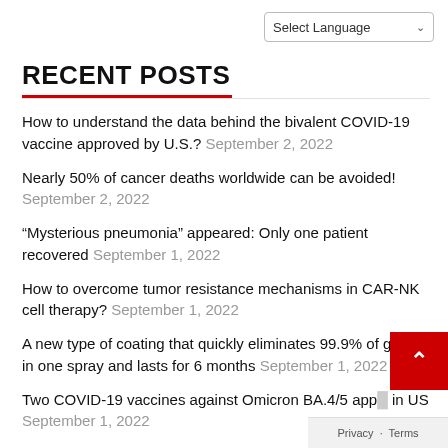Select Language
RECENT POSTS
How to understand the data behind the bivalent COVID-19 vaccine approved by U.S.? September 2, 2022
Nearly 50% of cancer deaths worldwide can be avoided! September 2, 2022
“Mysterious pneumonia” appeared: Only one patient recovered September 1, 2022
How to overcome tumor resistance mechanisms in CAR-NK cell therapy? September 1, 2022
A new type of coating that quickly eliminates 99.9% of germs in one spray and lasts for 6 months September 1, 2022
Two COVID-19 vaccines against Omicron BA.4/5 approved in US September 1, 2022